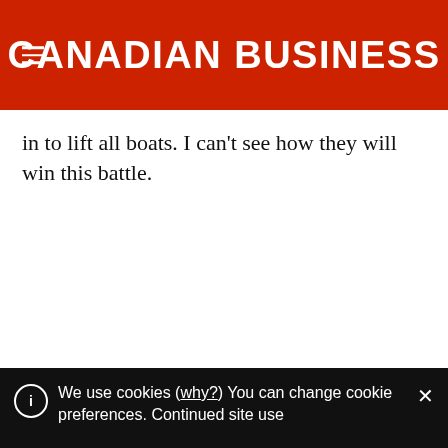CANADIAN BUSINESS
in to lift all boats. I can't see how they will win this battle.
FILED UNDER:
BEAR CRASH ESTATE   BEARISH HOUSE   BEARS HOUSING   CANADA MACDONALD   REAL
We use cookies (why?) You can change cookie preferences. Continued site use